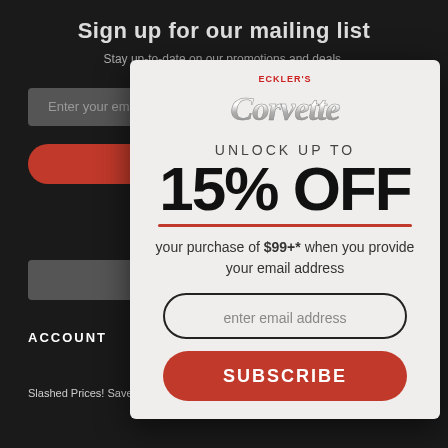[Figure (screenshot): Dark background of a website page showing partial navigation elements, input fields, and red buttons behind a modal popup]
[Figure (logo): Eckler's Corvette logo with script Corvette text and chrome styling]
UNLOCK UP TO
15% OFF
your purchase of $99+* when you provide your email address
enter email address
SUBSCRIBE